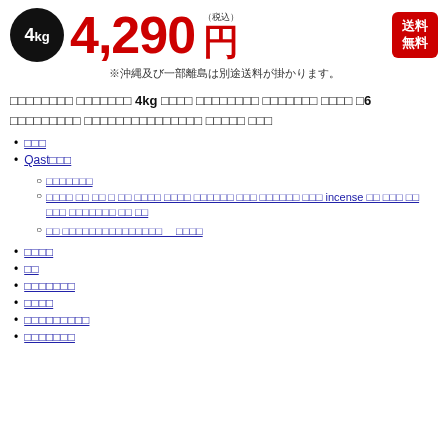[Figure (infographic): Price banner showing 4kg product at 4,290 yen (tax included) with free shipping badge]
※沖縄及び一部離島は別途送料が掛かります。
□□□□□□□□ □□□□□□□ 4kg □□□□ □□□□□□□□ □□□□□□□ □□□□ □6 □□□□□□□□□ □□□□□□□□□□□□□□□ □□□□□ □□□
□□□
Qast□□□
□□□□□□□
□□□□ □□ □□ □ □□ □□□□ □□□□ □□□□□□ □□□ □□□□□□ □□□ incense □□ □□□ □□ □□□ □□□□□□□ □□ □□
□□ □□□□□□□□□□□□□□□　 □□□□
□□□□
□□
□□□□□□□
□□□□
□□□□□□□□□
□□□□□□□